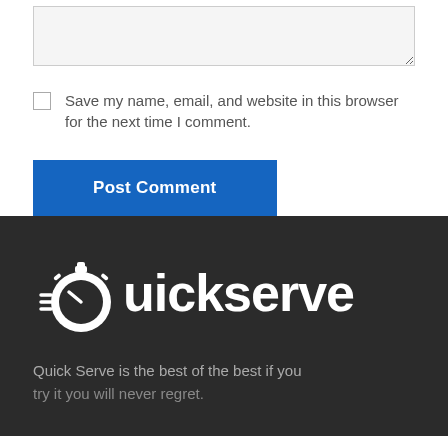[Figure (screenshot): A textarea input field with light gray background and resize handle in bottom-right corner]
Save my name, email, and website in this browser for the next time I comment.
[Figure (screenshot): A blue Post Comment button]
[Figure (logo): Quickserve logo with stopwatch icon on dark background]
Quick Serve is the best of the best if you try it you will never regret.